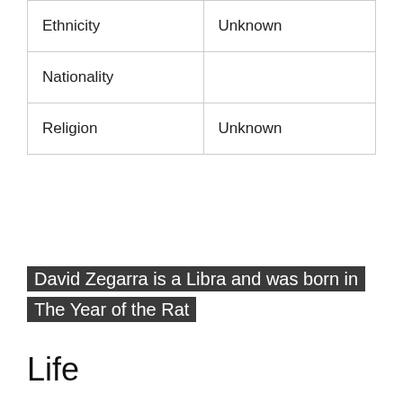| Ethnicity | Unknown |
| Nationality |  |
| Religion | Unknown |
David Zegarra is a Libra and was born in The Year of the Rat
Life